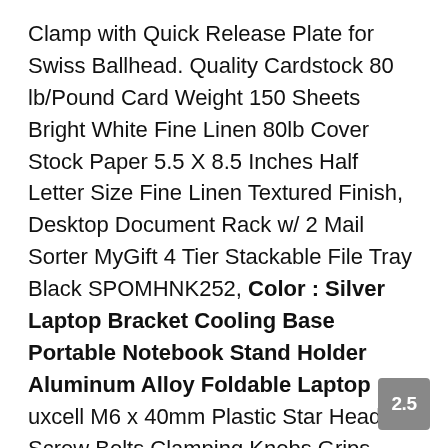Clamp with Quick Release Plate for Swiss Ballhead. Quality Cardstock 80 lb/Pound Card Weight 150 Sheets Bright White Fine Linen 80lb Cover Stock Paper 5.5 X 8.5 Inches Half Letter Size Fine Linen Textured Finish, Desktop Document Rack w/ 2 Mail Sorter MyGift 4 Tier Stackable File Tray Black SPOMHNK252, Color : Silver Laptop Bracket Cooling Base Portable Notebook Stand Holder Aluminum Alloy Foldable Laptop , uxcell M6 x 40mm Plastic Star Head Screw Bolts Clamping Knobs Grips Black 2pcs. Server Memory/Workstation Memory PC133 - Reg OFFTEK 512MB Replacement RAM Memory for NEC Express 5800 110Rc-1. Laptops Macs and Playstation 3 Sonnics 320gb Silver 2.5 Inch External Pocket Sized USB Hard Drive for